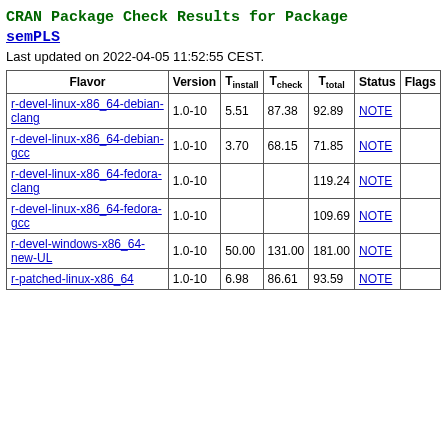CRAN Package Check Results for Package semPLS
Last updated on 2022-04-05 11:52:55 CEST.
| Flavor | Version | T_install | T_check | T_total | Status | Flags |
| --- | --- | --- | --- | --- | --- | --- |
| r-devel-linux-x86_64-debian-clang | 1.0-10 | 5.51 | 87.38 | 92.89 | NOTE |  |
| r-devel-linux-x86_64-debian-gcc | 1.0-10 | 3.70 | 68.15 | 71.85 | NOTE |  |
| r-devel-linux-x86_64-fedora-clang | 1.0-10 |  |  | 119.24 | NOTE |  |
| r-devel-linux-x86_64-fedora-gcc | 1.0-10 |  |  | 109.69 | NOTE |  |
| r-devel-windows-x86_64-new-UL | 1.0-10 | 50.00 | 131.00 | 181.00 | NOTE |  |
| r-patched-linux-x86_64 | 1.0-10 | 6.98 | 86.61 | 93.59 | NOTE |  |